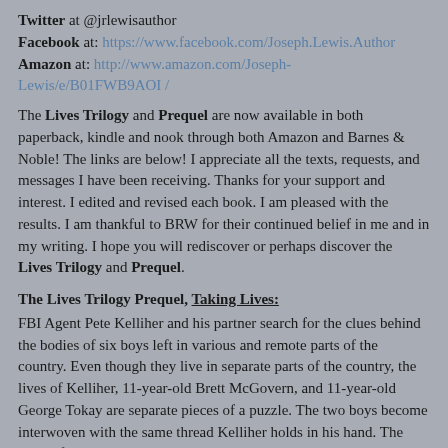Twitter at @jrlewisauthor
Facebook at: https://www.facebook.com/Joseph.Lewis.Author
Amazon at: http://www.amazon.com/Joseph-Lewis/e/B01FWB9AOI /
The Lives Trilogy and Prequel are now available in both paperback, kindle and nook through both Amazon and Barnes & Noble! The links are below! I appreciate all the texts, requests, and messages I have been receiving. Thanks for your support and interest. I edited and revised each book. I am pleased with the results. I am thankful to BRW for their continued belief in me and in my writing. I hope you will rediscover or perhaps discover the Lives Trilogy and Prequel.
The Lives Trilogy Prequel, Taking Lives:
FBI Agent Pete Kelliher and his partner search for the clues behind the bodies of six boys left in various and remote parts of the country. Even though they live in separate parts of the country, the lives of Kelliher, 11-year-old Brett McGovern, and 11-year-old George Tokay are separate pieces of a puzzle. The two boys become interwoven with the same thread Kelliher holds in his hand. The three of them are on a collision course and when that